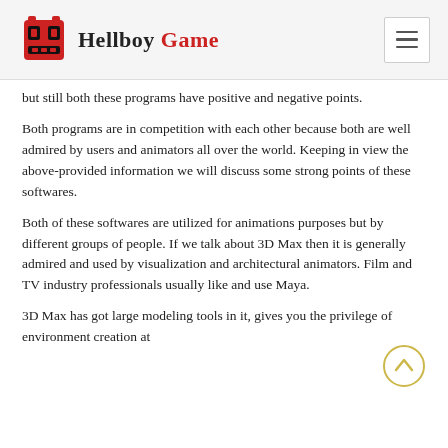Hellboy Game
but still both these programs have positive and negative points.
Both programs are in competition with each other because both are well admired by users and animators all over the world. Keeping in view the above-provided information we will discuss some strong points of these softwares.
Both of these softwares are utilized for animations purposes but by different groups of people. If we talk about 3D Max then it is generally admired and used by visualization and architectural animators. Film and TV industry professionals usually like and use Maya.
3D Max has got large modeling tools in it, gives you the privilege of environment creation at